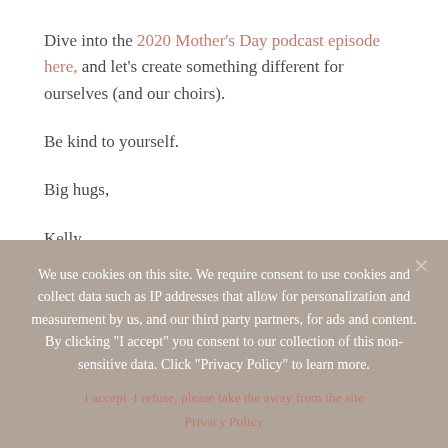Dive into the 2020 Mother's Day podcast episode here, and let's create something different for ourselves (and our choirs).
Be kind to yourself.
Big hugs,
Kelly
Listen in, subscribe, share the care:
We use cookies on this site. We require consent to use cookies and collect data such as IP addresses that allow for personalization and measurement by us, and our third party partners, for ads and content. By clicking "I accept" you consent to our collection of this non-sensitive data. Click "Privacy Policy" to learn more.
I accept  I refuse, please take the away from the site
Privacy Policy